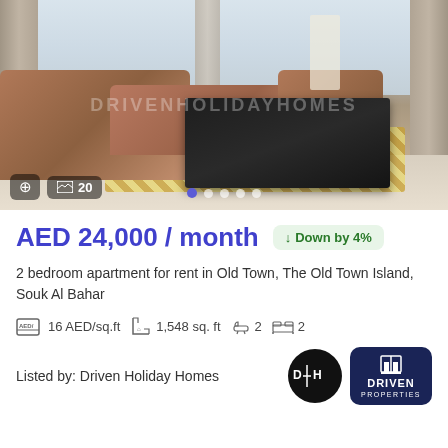[Figure (photo): Interior photo of a luxury apartment living room with brown sofas, dark coffee table, patterned rug, and large windows with curtains. Shows 20 photos indicator and navigation dots.]
AED 24,000 / month
Down by 4%
2 bedroom apartment for rent in Old Town, The Old Town Island, Souk Al Bahar
16 AED/sq.ft   1,548 sq. ft   2   2
Listed by: Driven Holiday Homes